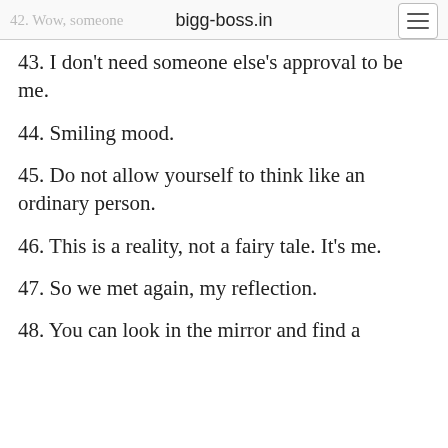bigg-boss.in
43. I don't need someone else's approval to be me.
44. Smiling mood.
45. Do not allow yourself to think like an ordinary person.
46. This is a reality, not a fairy tale. It's me.
47. So we met again, my reflection.
48. You can look in the mirror and find a